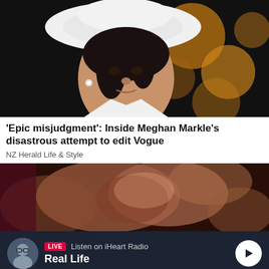[Figure (photo): Woman wearing white wide-brim hat and white outfit against dark background with bokeh orange lights]
'Epic misjudgment': Inside Meghan Markle's disastrous attempt to edit Vogue
NZ Herald Life & Style
[Figure (photo): Close-up blurred image of two people kissing, dark/warm tones]
LIVE  Listen on iHeart Radio
Real Life
Home  Shows  Podcasts  News  Menu